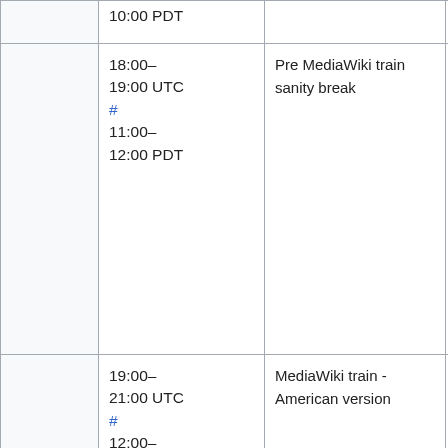|  | Time | Event | Who |
| --- | --- | --- | --- |
|  | 18:00–19:00 UTC # 11:00–12:00 PDT | Pre MediaWiki train sanity break |  |
|  | 19:00–21:00 UTC # 12:00–14:00 PDT | MediaWiki train - American version | Dan (marxare...) |
|  | 20:00–21:00 UTC # 13:00– | Services – Parsoid / Citoid / Mobileapps | C.Scott (cscot... (arlolra), Su... Bernd (bearND... (halfak)), And... |